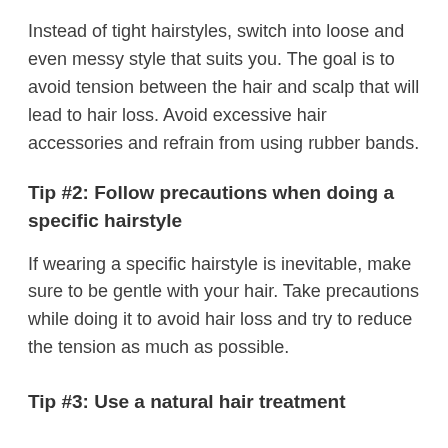Instead of tight hairstyles, switch into loose and even messy style that suits you. The goal is to avoid tension between the hair and scalp that will lead to hair loss. Avoid excessive hair accessories and refrain from using rubber bands.
Tip #2: Follow precautions when doing a specific hairstyle
If wearing a specific hairstyle is inevitable, make sure to be gentle with your hair. Take precautions while doing it to avoid hair loss and try to reduce the tension as much as possible.
Tip #3: Use a natural hair treatment